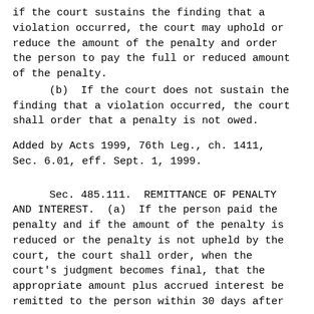if the court sustains the finding that a violation occurred, the court may uphold or reduce the amount of the penalty and order the person to pay the full or reduced amount of the penalty.
(b)  If the court does not sustain the finding that a violation occurred, the court shall order that a penalty is not owed.
Added by Acts 1999, 76th Leg., ch. 1411, Sec. 6.01, eff. Sept. 1, 1999.
Sec. 485.111.  REMITTANCE OF PENALTY AND INTEREST.  (a)  If the person paid the penalty and if the amount of the penalty is reduced or the penalty is not upheld by the court, the court shall order, when the court's judgment becomes final, that the appropriate amount plus accrued interest be remitted to the person within 30 days after...